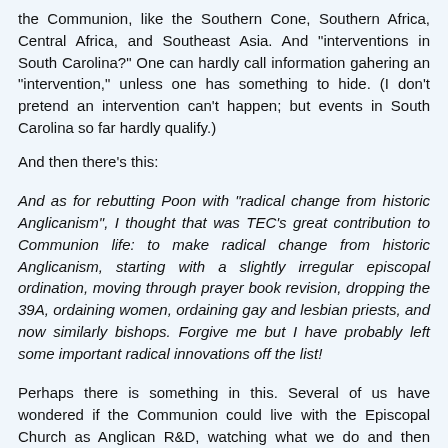the Communion, like the Southern Cone, Southern Africa, Central Africa, and Southeast Asia. And "interventions in South Carolina?" One can hardly call information gahering an "intervention," unless one has something to hide. (I don't pretend an intervention can't happen; but events in South Carolina so far hardly qualify.)
And then there's this:
And as for rebutting Poon with "radical change from historic Anglicanism", I thought that was TEC's great contribution to Communion life: to make radical change from historic Anglicanism, starting with a slightly irregular episcopal ordination, moving through prayer book revision, dropping the 39A, ordaining women, ordaining gay and lesbian priests, and now similarly bishops. Forgive me but I have probably left some important radical innovations off the list!
Perhaps there is something in this. Several of us have wondered if the Communion could live with the Episcopal Church as Anglican R&D, watching what we do and then considering whether or not to do the same (and apparently